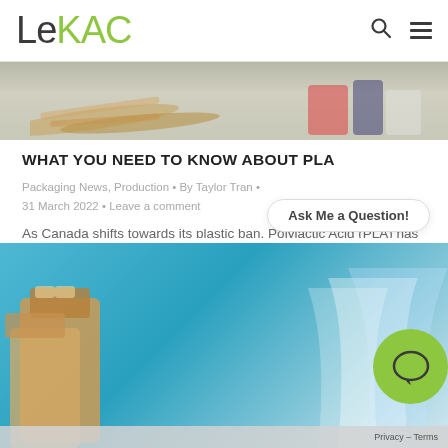LeKAC
[Figure (photo): Photo of wooden utensils and plastic items on a gray surface, cropped showing bottom portion]
WHAT YOU NEED TO KNOW ABOUT PLA
Packaging News, Production • By Taylor Tran • 31 March 2022 • Leave a comment
As Canada shifts towards its plastic ban, Polylactic Acid (PLA) has become an interesting eco-friendly alternative. But what is PLA? How does it differ from normal plastic? Read on to learn more! How Do You Make It? PLA is a thermoplastic made of renewable, plant-based sources. The sugars in the plant materials ferment and are...
[Figure (photo): Photo of paper bags and plastic bags on a blue background, partially visible at bottom of page]